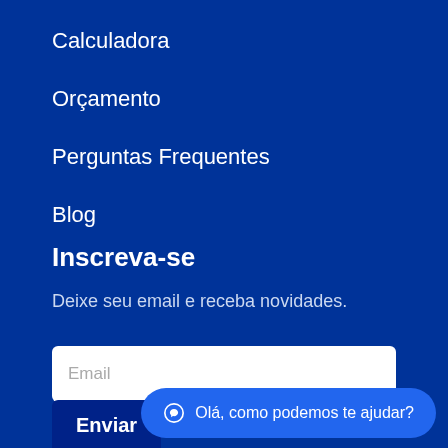Calculadora
Orçamento
Perguntas Frequentes
Blog
Inscreva-se
Deixe seu email e receba novidades.
Email
Enviar
Olá, como podemos te ajudar?